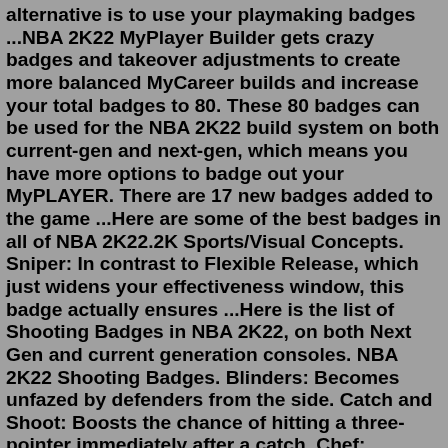alternative is to use your playmaking badges ...NBA 2K22 MyPlayer Builder gets crazy badges and takeover adjustments to create more balanced MyCareer builds and increase your total badges to 80. These 80 badges can be used for the NBA 2K22 build system on both current-gen and next-gen, which means you have more options to badge out your MyPLAYER. There are 17 new badges added to the game ...Here are some of the best badges in all of NBA 2K22.2K Sports/Visual Concepts. Sniper: In contrast to Flexible Release, which just widens your effectiveness window, this badge actually ensures ...Here is the list of Shooting Badges in NBA 2K22, on both Next Gen and current generation consoles. NBA 2K22 Shooting Badges. Blinders: Becomes unfazed by defenders from the side. Catch and Shoot: Boosts the chance of hitting a three-pointer immediately after a catch. Chef: Increases the ability to knock down Steph Curry-esque off-dribble deep ... NBA 2K22 Shooting Badges.OFF. ) consists of numerous triple ... >Gen Premium Jumpshots #nba2k #nba2k22 #fyp #